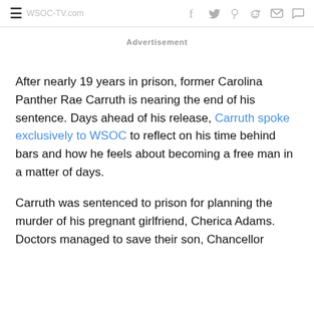≡  f  🐦  p  🔴  ✉  💬
Advertisement
After nearly 19 years in prison, former Carolina Panther Rae Carruth is nearing the end of his sentence. Days ahead of his release, Carruth spoke exclusively to WSOC to reflect on his time behind bars and how he feels about becoming a free man in a matter of days.
Carruth was sentenced to prison for planning the murder of his pregnant girlfriend, Cherica Adams. Doctors managed to save their son, Chancellor